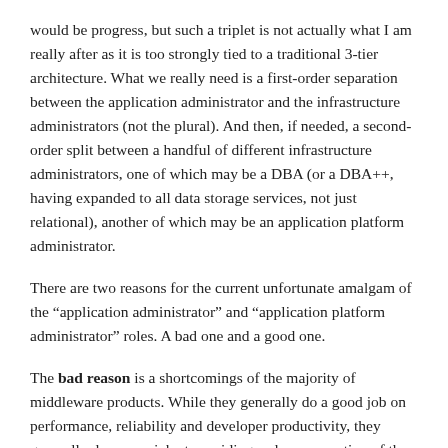would be progress, but such a triplet is not actually what I am really after as it is too strongly tied to a traditional 3-tier architecture. What we really need is a first-order separation between the application administrator and the infrastructure administrators (not the plural). And then, if needed, a second-order split between a handful of different infrastructure administrators, one of which may be a DBA (or a DBA++, having expanded to all data storage services, not just relational), another of which may be an application platform administrator.
There are two reasons for the current unfortunate amalgam of the “application administrator” and “application platform administrator” roles. A bad one and a good one.
The bad reason is a shortcomings of the majority of middleware products. While they generally do a good job on performance, reliability and developer productivity, they generally do a poor job at providing a clean separation of the performance/administration functions that are relevant to the runtime and those that are relevant to the deployed applications. Their usual role definitions are more structured along the lines of a location awareness as from rather than a subject partition...